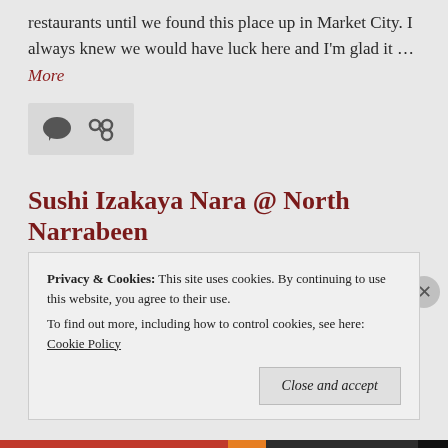restaurants until we found this place up in Market City. I always knew we would have luck here and I'm glad it … More
[Figure (other): Social media icon bar with comment bubble and link/share icons]
Sushi Izakaya Nara @ North Narrabeen
November 20, 2021
A small restaurant situated on Pittwater Rd, opposite the lake. I honestly didn't expect to come here despite the recommendations because honestly, I don't think it'll wow me.
Privacy & Cookies: This site uses cookies. By continuing to use this website, you agree to their use.
To find out more, including how to control cookies, see here: Cookie Policy
Close and accept